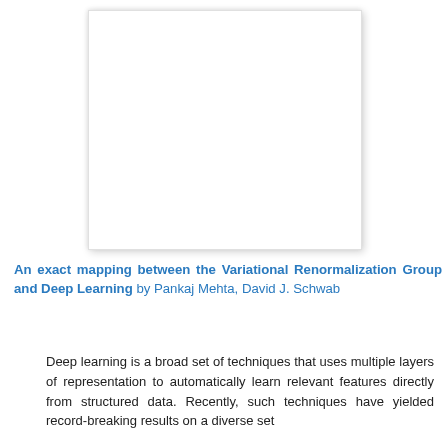[Figure (other): White blank image placeholder with drop shadow, likely a paper figure or diagram placeholder.]
An exact mapping between the Variational Renormalization Group and Deep Learning by Pankaj Mehta, David J. Schwab
Deep learning is a broad set of techniques that uses multiple layers of representation to automatically learn relevant features directly from structured data. Recently, such techniques have yielded record-breaking results on a diverse set